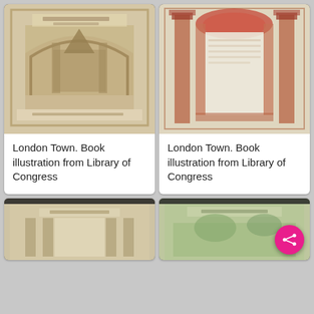[Figure (illustration): Blurred book cover illustration from London Town, showing an ornate arch with a church building inside, sepia/beige tones. From Library of Congress.]
London Town. Book illustration from Library of Congress
[Figure (illustration): Blurred book illustration from London Town, showing an architectural frame with minarets/columns in red and beige tones, with a white center panel. From Library of Congress.]
London Town. Book illustration from Library of Congress
[Figure (illustration): Partially visible blurred book illustration from London Town, beige tones, lower portion of page only visible.]
[Figure (illustration): Partially visible blurred book illustration from London Town, greenish tones, lower portion of page only visible. Share button overlaid.]